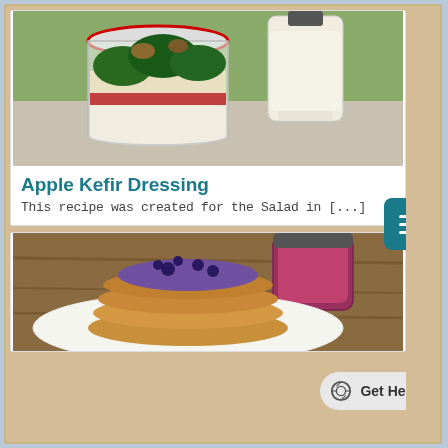[Figure (photo): A glass jar filled with layered salad ingredients (greens, blueberries, apples, pomegranate seeds) next to a glass bottle of creamy kefir dressing, set on a stone surface with green foliage in the background.]
Apple Kefir Dressing
This recipe was created for the Salad in [...]
[Figure (photo): A stack of blueberry kefir pancakes on a white plate topped with blueberry sauce and fresh blueberries, with a jar of blueberry compote in the background on a wooden surface.]